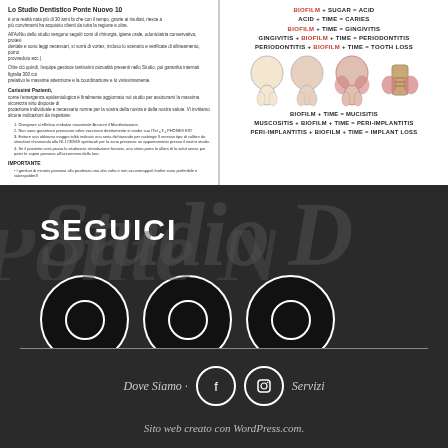[Figure (screenshot): Left panel: Italian dental letter with title 'Lo Studio Dentistico Ponte Nuovo 10', body text, 'Carissimi Pazienti,' section, list items, and 'IMPORTANTE' section.]
[Figure (infographic): Right panel: Biofilm disease progression equations (BIOFILM + SUGAR = ACID, ACID + TIME = CARIES, BIOFILM + TIME = GINGIVITIS, GINGIVITIS + BIOFILM + TIME = PERIODONTITIS, PERIODONTITIS + BIOFILM + TIME = TOOTH LOSS) with tooth diagram illustration, followed by implant equations (BIOFILM + TIME = MUCISITIS, MUSCOSITIS + BIOFILM + TIME = PERI-IMPLANTITIS, PERI-IMPLANTITIS + BIOFILM + TIME = IMPLANT LOSS).]
SEGUICI
[Figure (illustration): Three black circles with white borders arranged horizontally, representing social media icons.]
Dove Siamo · [Facebook icon] [Instagram icon] Servizi
Sito web creato con WordPress.com.